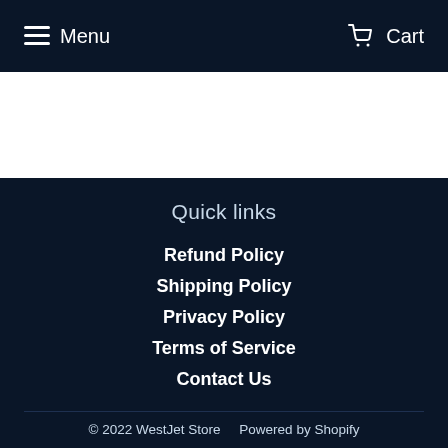Menu   Cart
Quick links
Refund Policy
Shipping Policy
Privacy Policy
Terms of Service
Contact Us
© 2022 WestJet Store   Powered by Shopify
[Figure (other): Payment method icons: American Express, Apple Pay, Diners Club, Discover, Google Pay, Mastercard, Shop Pay, Visa]